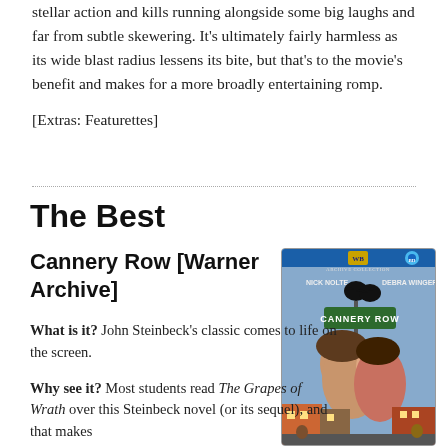stellar action and kills running alongside some big laughs and far from subtle skewering. It's ultimately fairly harmless as its wide blast radius lessens its bite, but that's to the movie's benefit and makes for a more broadly entertaining romp.
[Extras: Featurettes]
The Best
Cannery Row [Warner Archive]
[Figure (photo): Blu-ray cover of Cannery Row (Warner Archive) showing Nick Nolte and Debra Winger in a romantic pose beneath a Cannery Row street sign with birds perched on top]
What is it? John Steinbeck's classic comes to life on the screen.
Why see it? Most students read The Grapes of Wrath over this Steinbeck novel (or its sequel), and that makes